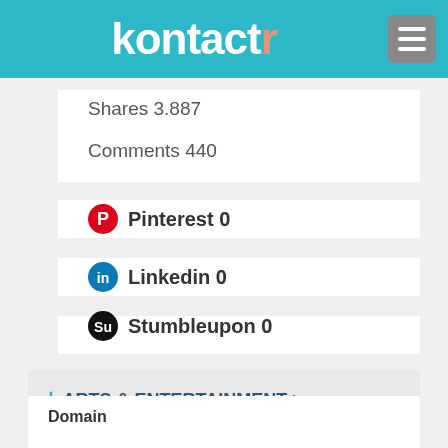kontactr
Shares 3.887
Comments 440
Pinterest 0
Linkedin 0
Stumbleupon 0
ARTS & ENTERTAINMENT > TELEVISION & VIDEO COMPETITORS
Domain